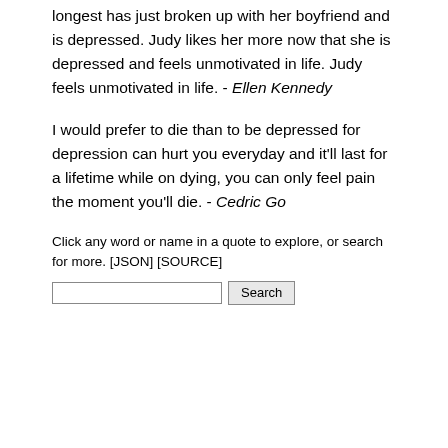longest has just broken up with her boyfriend and is depressed. Judy likes her more now that she is depressed and feels unmotivated in life. Judy feels unmotivated in life. - Ellen Kennedy
I would prefer to die than to be depressed for depression can hurt you everyday and it'll last for a lifetime while on dying, you can only feel pain the moment you'll die. - Cedric Go
Click any word or name in a quote to explore, or search for more. [JSON] [SOURCE]